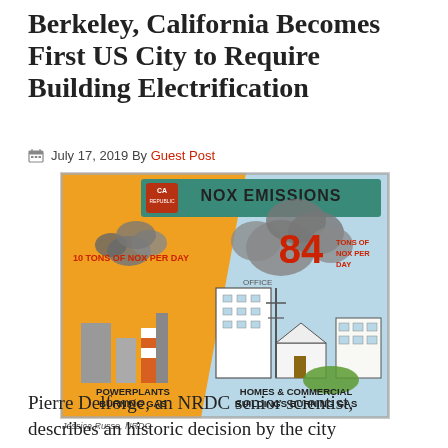Berkeley, California Becomes First US City to Require Building Electrification
July 17, 2019 By Guest Post
[Figure (infographic): Infographic showing NOx emissions comparison: Powerplants burning gas emit 10 tons of NOx per day vs Homes & Commercial Buildings burning gas emit 84 tons of NOx per day. California state bear logo at top. Credit: Jessica Russo, NRDC.]
Pierre Delforge, an NRDC senior scientist, describes an historic decision by the city